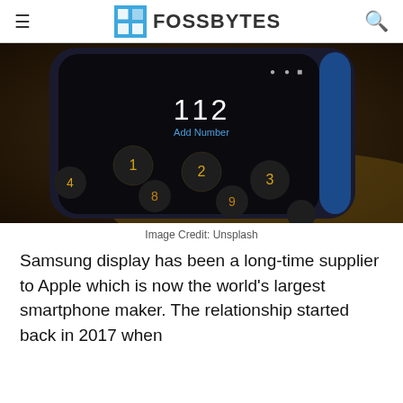FOSSBYTES
[Figure (photo): Close-up photo of a Nokia-style phone keypad showing number 112 on screen with 'Add Number' subtitle, blue phone casing, dark background]
Image Credit: Unsplash
Samsung display has been a long-time supplier to Apple which is now the world's largest smartphone maker. The relationship started back in 2017 when